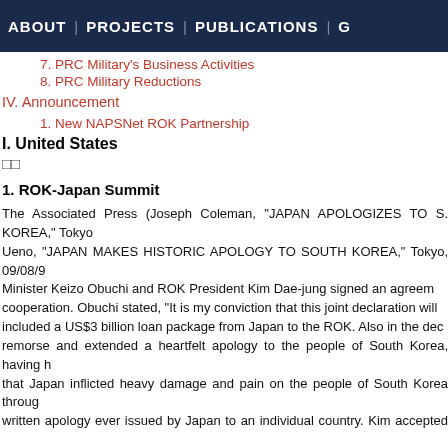ABOUT | PROJECTS | PUBLICATIONS | G
7. PRC Military's Business Activities
8. PRC Military Reductions
IV. Announcement
1. New NAPSNet ROK Partnership
I. United States
□□
1. ROK-Japan Summit
The Associated Press (Joseph Coleman, "JAPAN APOLOGIZES TO S. KOREA," Tokyo; Ueno, "JAPAN MAKES HISTORIC APOLOGY TO SOUTH KOREA," Tokyo, 09/08/9 Minister Keizo Obuchi and ROK President Kim Dae-jung signed an agreement cooperation. Obuchi stated, "It is my conviction that this joint declaration will included a US$3 billion loan package from Japan to the ROK. Also in the declaration remorse and extended a heartfelt apology to the people of South Korea, having h that Japan inflicted heavy damage and pain on the people of South Korea through written apology ever issued by Japan to an individual country. Kim accepted the the past, and acknowledged that it went deeper than previous Japanese apologi agreed that implementing the agreement to build two light-water nuclear reacto prevent the DPRK from developing its own nuclear weapons. Kim also promise